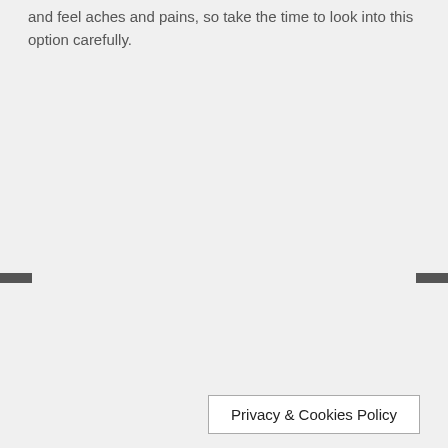and feel aches and pains, so take the time to look into this option carefully.
Privacy & Cookies Policy